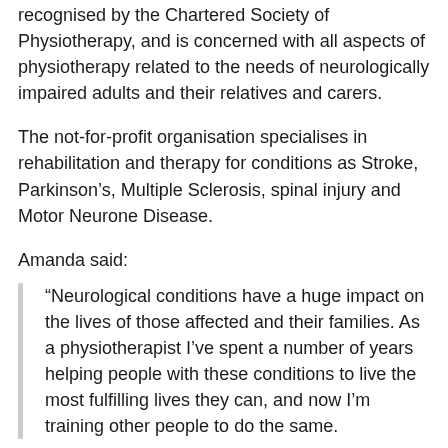recognised by the Chartered Society of Physiotherapy, and is concerned with all aspects of physiotherapy related to the needs of neurologically impaired adults and their relatives and carers.
The not-for-profit organisation specialises in rehabilitation and therapy for conditions as Stroke, Parkinson's, Multiple Sclerosis, spinal injury and Motor Neurone Disease.
Amanda said:
“Neurological conditions have a huge impact on the lives of those affected and their families. As a physiotherapist I’ve spent a number of years helping people with these conditions to live the most fulfilling lives they can, and now I’m training other people to do the same.